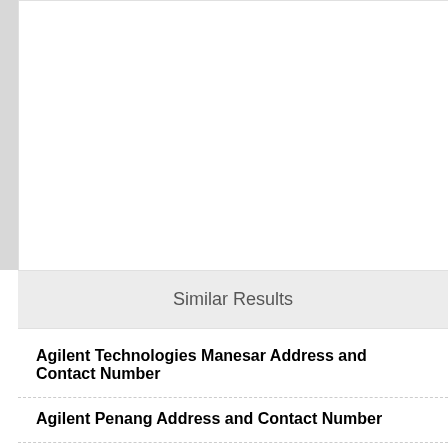Similar Results
Agilent Technologies Manesar Address and Contact Number
Agilent Penang Address and Contact Number
Agilent Malaysia Address and Contact Number